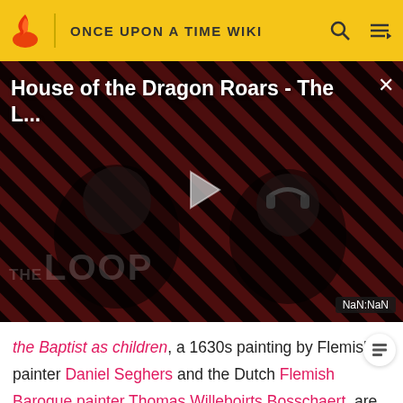ONCE UPON A TIME WIKI
[Figure (screenshot): Video player showing 'House of the Dragon Roars - The L...' with a diagonal striped dark red/black background, two shadowed figures, a play button, THE LOOP watermark, and a NaN:NaN timestamp]
the Baptist as children, a 1630s painting by Flemish painter Daniel Seghers and the Dutch Flemish Baroque painter Thomas Willeboirts Bosschaert, are hanging on either side of the exit of the parlor room in Dream World version of the dark castle.[39] The